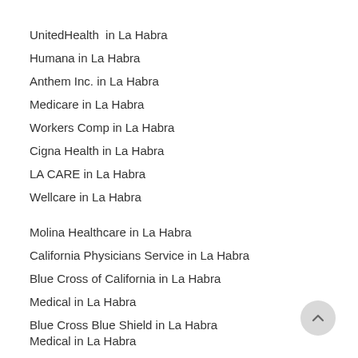UnitedHealth  in La Habra
Humana in La Habra
Anthem Inc. in La Habra
Medicare in La Habra
Workers Comp in La Habra
Cigna Health in La Habra
LA CARE in La Habra
Wellcare in La Habra
Molina Healthcare in La Habra
California Physicians Service in La Habra
Blue Cross of California in La Habra
Medical in La Habra
Blue Cross Blue Shield in La Habra
Medical in La Habra
Blue Cross Blue Shield in La Habra
Carefirst Inc. in La Habra